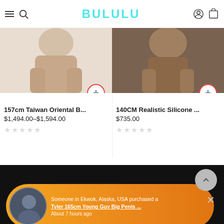BULULU
[Figure (photo): Product image for 157cm Taiwan Oriental B... showing partial figure]
157cm Taiwan Oriental B...
$1,494.00–$1,594.00
[Figure (photo): Product image for 140CM Realistic Silicone ... showing partial figure]
140CM Realistic Silicone ...
$735.00
[Figure (photo): Notification banner with avatar photo, orange background, purchase notification for Tyler 165cm Young Guy Big Penis ...]
Someone in Ekwok, Alaska, USA purchased a
Tyler 165cm Young Guy Big Penis ...
About 7 hours ago